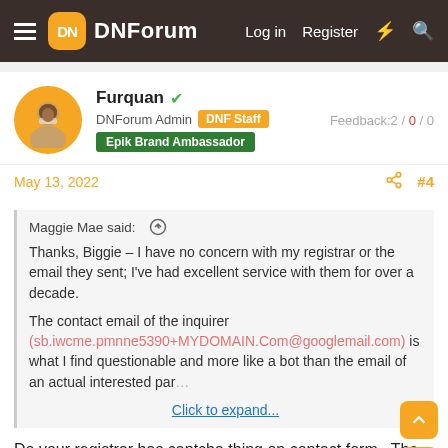DNForum — Log in  Register
Furquan · DNForum Admin · DNF Staff · Epik Brand Ambassador · Feedback: 2 / 0 / 0
May 13, 2022  #4
Maggie Mae said: ↑

Thanks, Biggie – I have no concern with my registrar or the email they sent; I've had excellent service with them for over a decade.

The contact email of the inquirer (sb.iwcme.pmnne5390+MYDOMAIN.Com@googlemail.com) is what I find questionable and more like a bot than the email of an actual interested par… Click to expand...
Do your registrar has captcha thing on contact form . The wording look like a bot but it can be legitimate